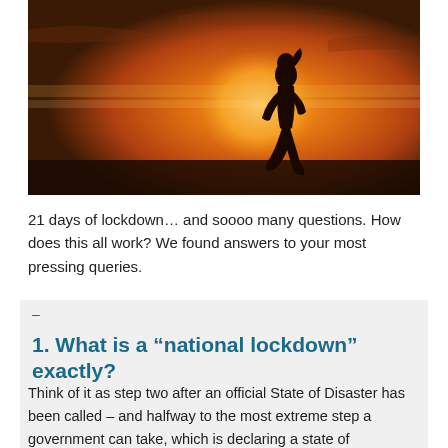[Figure (photo): Silhouette of a woman running against a golden sunset sky background]
21 days of lockdown… and soooo many questions. How does this all work? We found answers to your most pressing queries.
1. What is a “national lockdown” exactly?
Think of it as step two after an official State of Disaster has been called – and halfway to the most extreme step a government can take, which is declaring a state of emergency. A lockdown can take place in certain areas, or across the entire country, like this